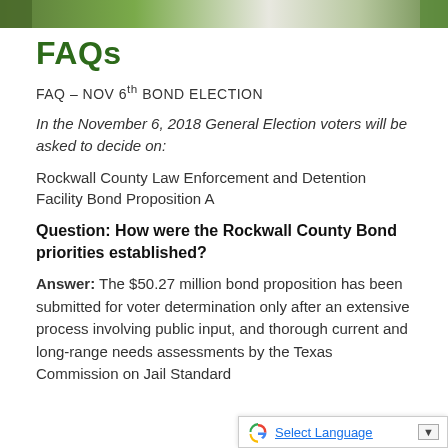FAQs
FAQ – NOV 6th BOND ELECTION
In the November 6, 2018 General Election voters will be asked to decide on:
Rockwall County Law Enforcement and Detention Facility Bond Proposition A
Question: How were the Rockwall County Bond priorities established?
Answer: The $50.27 million bond proposition has been submitted for voter determination only after an extensive process involving public input, and thorough current and long-range needs assessments by the Texas Commission on Jail Standards